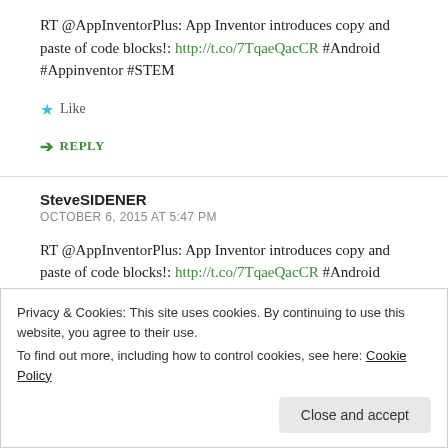RT @AppInventorPlus: App Inventor introduces copy and paste of code blocks!: http://t.co/7TqaeQacCR #Android #Appinventor #STEM
Like
REPLY
SteveSIDENER
OCTOBER 6, 2015 AT 5:47 PM
RT @AppInventorPlus: App Inventor introduces copy and paste of code blocks!: http://t.co/7TqaeQacCR #Android #Appinventor #STEM
Privacy & Cookies: This site uses cookies. By continuing to use this website, you agree to their use.
To find out more, including how to control cookies, see here: Cookie Policy
Close and accept